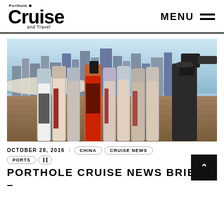Porthole Cruise and Travel — MENU
[Figure (photo): Group of fashion models wearing ornate red, black and white gowns posed on a ship deck with New York City skyline in background, being photographed by a cameraman on the right]
OCTOBER 28, 2016 / CHINA  CRUISE NEWS  PORTS
PORTHOLE CRUISE NEWS BRIEFS –